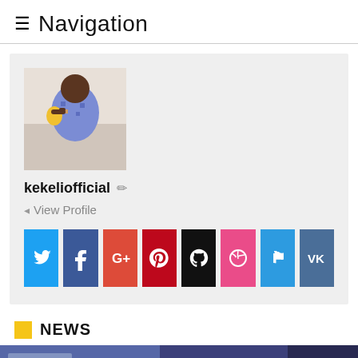Navigation
[Figure (screenshot): User profile card with photo of a person in colorful shirt, username kekeliofficial with edit icon, View Profile link, and a row of social media icon buttons: Twitter, Facebook, Google+, Pinterest, GitHub, Dribbble, Foursquare, VK]
NEWS
[Figure (photo): Blurred news article image with text partially visible, back-to-top yellow button in lower right corner]